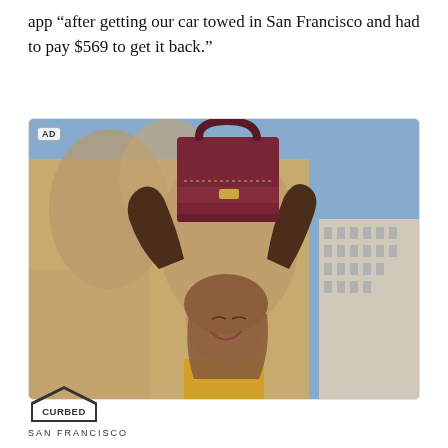app “after getting our car towed in San Francisco and had to pay $569 to get it back.”
[Figure (photo): Advertisement photo showing a woman holding a dark burgundy leather handbag above her head, smiling, with a city backdrop. 'AD' label in top left corner.]
[Figure (logo): Curbed San Francisco logo — house-shaped outline containing the word CURBED, with SAN FRANCISCO text below]